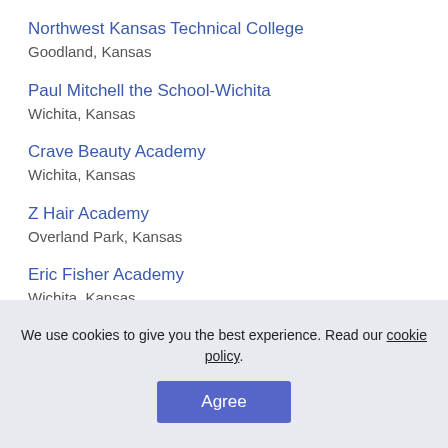Northwest Kansas Technical College
Goodland, Kansas
Paul Mitchell the School-Wichita
Wichita, Kansas
Crave Beauty Academy
Wichita, Kansas
Z Hair Academy
Overland Park, Kansas
Eric Fisher Academy
Wichita, Kansas
WellSpring School of Allied Health-Lawrence
Lawrence, Kansas
We use cookies to give you the best experience. Read our cookie policy.